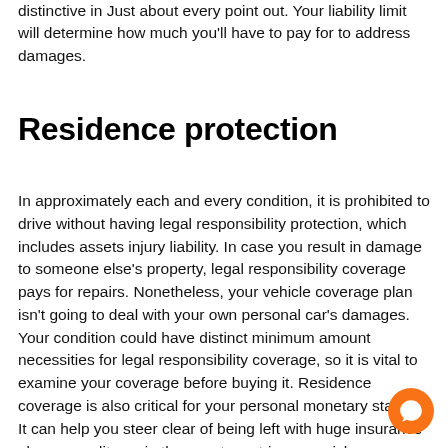distinctive in Just about every point out. Your liability limit will determine how much you'll have to pay for to address damages.
Residence protection
In approximately each and every condition, it is prohibited to drive without having legal responsibility protection, which includes assets injury liability. In case you result in damage to someone else's property, legal responsibility coverage pays for repairs. Nonetheless, your vehicle coverage plan isn't going to deal with your own personal car's damages. Your condition could have distinct minimum amount necessities for legal responsibility coverage, so it is vital to examine your coverage before buying it. Residence coverage is also critical for your personal monetary stability. It can help you steer clear of being left with huge insurance plan expenditures in the event you trigger a mishap.